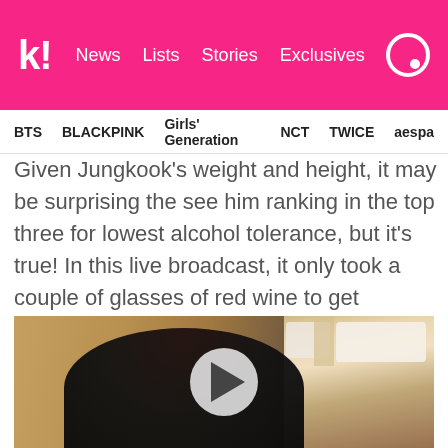k! News Lists Stories Exclusives
BTS BLACKPINK Girls' Generation NCT TWICE aespa
Given Jungkook's weight and height, it may be surprising the see him ranking in the top three for lowest alcohol tolerance, but it's true! In this live broadcast, it only took a couple of glasses of red wine to get Jungkook tipsy.
[Figure (photo): Video thumbnail showing a person with dark hair in a hotel room with a bed and pillows visible, with a white play button overlay in the center]